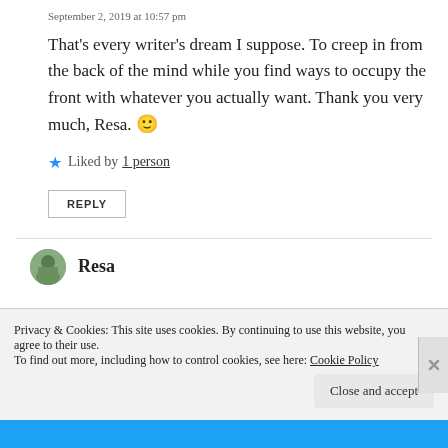September 2, 2019 at 10:57 pm
That's every writer's dream I suppose. To creep in from the back of the mind while you find ways to occupy the front with whatever you actually want. Thank you very much, Resa. 🙂
★ Liked by 1 person
REPLY
Resa
Privacy & Cookies: This site uses cookies. By continuing to use this website, you agree to their use. To find out more, including how to control cookies, see here: Cookie Policy
Close and accept